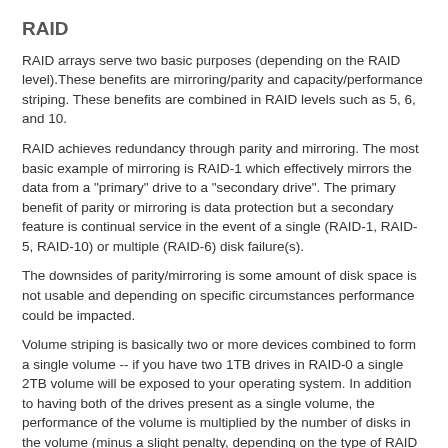RAID
RAID arrays serve two basic purposes (depending on the RAID level).These benefits are mirroring/parity and capacity/performance striping. These benefits are combined in RAID levels such as 5, 6, and 10.
RAID achieves redundancy through parity and mirroring. The most basic example of mirroring is RAID-1 which effectively mirrors the data from a "primary" drive to a "secondary drive". The primary benefit of parity or mirroring is data protection but a secondary feature is continual service in the event of a single (RAID-1, RAID-5, RAID-10) or multiple (RAID-6) disk failure(s).
The downsides of parity/mirroring is some amount of disk space is not usable and depending on specific circumstances performance could be impacted.
Volume striping is basically two or more devices combined to form a single volume -- if you have two 1TB drives in RAID-0 a single 2TB volume will be exposed to your operating system. In addition to having both of the drives present as a single volume, the performance of the volume is multiplied by the number of disks in the volume (minus a slight penalty, depending on the type of RAID controller used.)